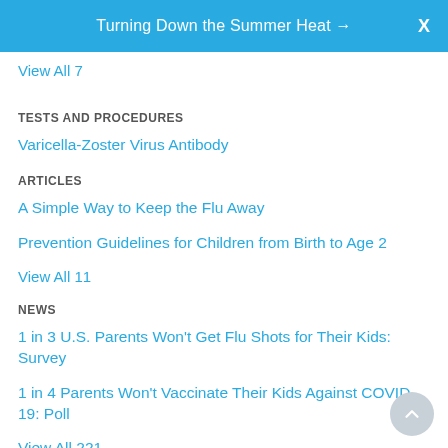Turning Down the Summer Heat →  X
View All 7
TESTS AND PROCEDURES
Varicella-Zoster Virus Antibody
ARTICLES
A Simple Way to Keep the Flu Away
Prevention Guidelines for Children from Birth to Age 2
View All 11
NEWS
1 in 3 U.S. Parents Won't Get Flu Shots for Their Kids: Survey
1 in 4 Parents Won't Vaccinate Their Kids Against COVID-19: Poll
View All 221